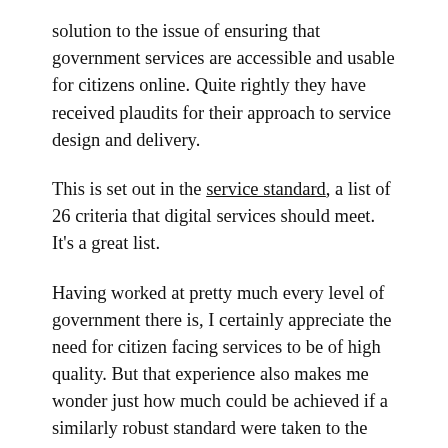solution to the issue of ensuring that government services are accessible and usable for citizens online. Quite rightly they have received plaudits for their approach to service design and delivery.
This is set out in the service standard, a list of 26 criteria that digital services should meet. It's a great list.
Having worked at pretty much every level of government there is, I certainly appreciate the need for citizen facing services to be of high quality. But that experience also makes me wonder just how much could be achieved if a similarly robust standard were taken to the design of systems used internally by government departments, councils, and so on.
Actually, make that all large organisations